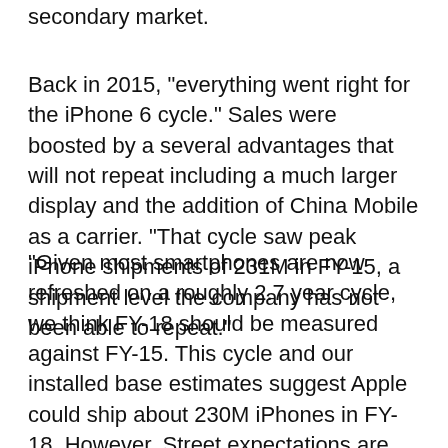secondary market.
Back in 2015, "everything went right for the iPhone 6 cycle." Sales were boosted by a several advantages that will not repeat including a much larger display and the addition of China Mobile as a carrier. "That cycle saw peak iPhone shipments of 231M in FY-15, a shipment level the company has not been able to repeat."
"Given most smartphones are now refreshed on a roughly 2.7 year cycle, we think FY-18 should be measured against FY-15. This cycle and our installed base estimates suggest Apple could ship about 230M iPhones in FY-18. However, Street expectations are modeling shipments of 244M units, implying an